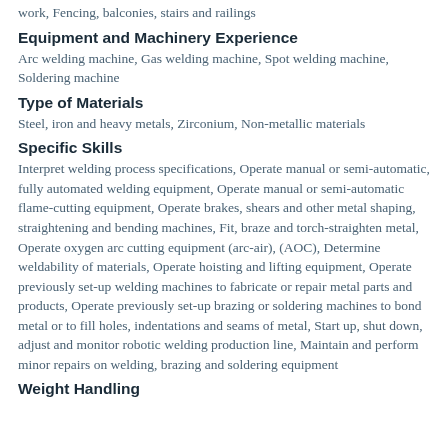work, Fencing, balconies, stairs and railings
Equipment and Machinery Experience
Arc welding machine, Gas welding machine, Spot welding machine, Soldering machine
Type of Materials
Steel, iron and heavy metals, Zirconium, Non-metallic materials
Specific Skills
Interpret welding process specifications, Operate manual or semi-automatic, fully automated welding equipment, Operate manual or semi-automatic flame-cutting equipment, Operate brakes, shears and other metal shaping, straightening and bending machines, Fit, braze and torch-straighten metal, Operate oxygen arc cutting equipment (arc-air), (AOC), Determine weldability of materials, Operate hoisting and lifting equipment, Operate previously set-up welding machines to fabricate or repair metal parts and products, Operate previously set-up brazing or soldering machines to bond metal or to fill holes, indentations and seams of metal, Start up, shut down, adjust and monitor robotic welding production line, Maintain and perform minor repairs on welding, brazing and soldering equipment
Weight Handling